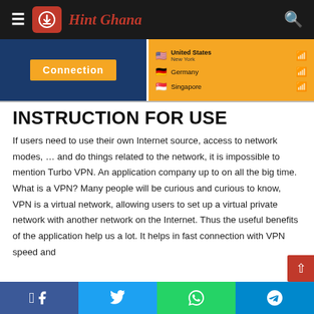HintGhana navigation bar
[Figure (screenshot): VPN app screenshot showing Connection button on left (dark blue and orange background) and country list on right (orange background) with United States, Germany, Singapore flags and signal bars]
INSTRUCTION FOR USE
If users need to use their own Internet source, access to network modes, … and do things related to the network, it is impossible to mention Turbo VPN. An application company up to on all the big time. What is a VPN? Many people will be curious and curious to know, VPN is a virtual network, allowing users to set up a virtual private network with another network on the Internet. Thus the useful benefits of the application help us a lot. It helps in fast connection with VPN speed and
Facebook Twitter WhatsApp Telegram social share bar